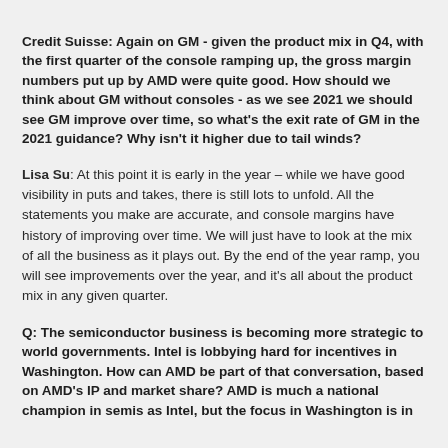Credit Suisse: Again on GM - given the product mix in Q4, with the first quarter of the console ramping up, the gross margin numbers put up by AMD were quite good. How should we think about GM without consoles - as we see 2021 we should see GM improve over time, so what's the exit rate of GM in the 2021 guidance? Why isn't it higher due to tail winds?
Lisa Su: At this point it is early in the year – while we have good visibility in puts and takes, there is still lots to unfold. All the statements you make are accurate, and console margins have history of improving over time. We will just have to look at the mix of all the business as it plays out. By the end of the year ramp, you will see improvements over the year, and it's all about the product mix in any given quarter.
Q: The semiconductor business is becoming more strategic to world governments. Intel is lobbying hard for incentives in Washington. How can AMD be part of that conversation, based on AMD's IP and market share? AMD is much a national champion in semis as Intel, but the focus in Washington is in